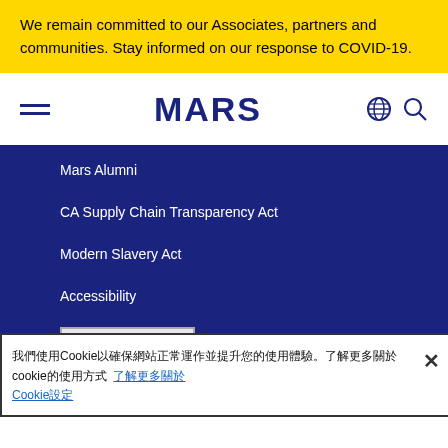We remain committed to our Associates, partners and communities. Stay informed on our response to COVID-19.
[Figure (logo): MARS company logo with hamburger menu icon on left and globe/search icons on right]
Mars Alumni
CA Supply Chain Transparency Act
Modern Slavery Act
Accessibility
Cookie 設定
我們使用Cookie以確保網站正常運作並提升您的使用體驗。了解更多關於Cookie的使用方式